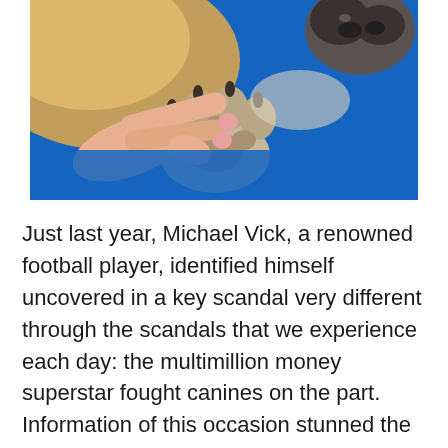[Figure (photo): A human hand holding a dog's paw on a blue surface. The dog's nose is visible in the upper right corner. The photo has warm tones on the left and a vivid blue background.]
Just last year, Michael Vick, a renowned football player, identified himself uncovered in a key scandal very different through the scandals that we experience each day: the multimillion money superstar fought canines on the part. Information of this occasion stunned the country and triggered outrage among